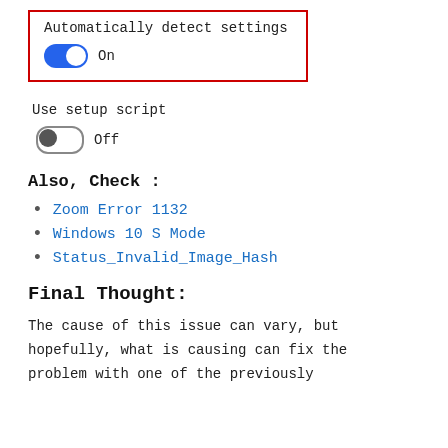[Figure (screenshot): UI settings screenshot showing 'Automatically detect settings' toggle in ON (blue) state, outlined with a red border]
Use setup script
Off
Also, Check :
Zoom Error 1132
Windows 10 S Mode
Status_Invalid_Image_Hash
Final Thought:
The cause of this issue can vary, but hopefully, what is causing can fix the problem with one of the previously